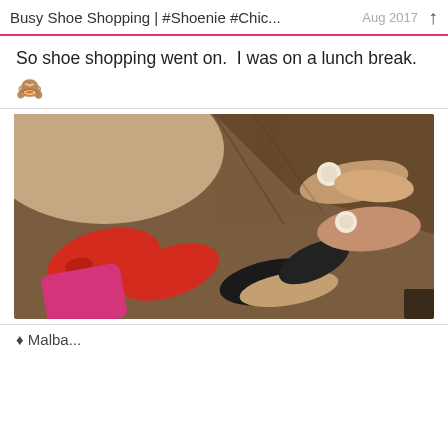Busy Shoe Shopping | #Shoenie #Chic...
So shoe shopping went on.  I was on a lunch break.
🙈
[Figure (photo): Overhead photo of several shoes on a brown carpet: a person wearing red pointed-toe ballet flats with a bow and bright pink trousers, alongside two black glitter pointed flats, and two rose-gold/tan pearl-embellished thong sandals arranged on the floor.]
♦ Malba...